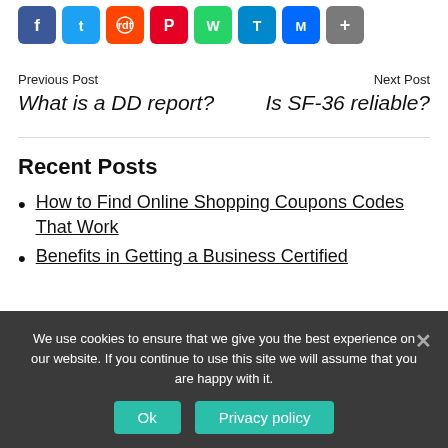[Figure (other): Row of social sharing icon buttons: Facebook, Twitter, Reddit, Pinterest, WhatsApp, Telegram, Messenger, Share]
Previous Post
What is a DD report?
Next Post
Is SF-36 reliable?
Recent Posts
How to Find Online Shopping Coupons Codes That Work
Benefits in Getting a Business Certified
We use cookies to ensure that we give you the best experience on our website. If you continue to use this site we will assume that you are happy with it.
Ok
Privacy policy